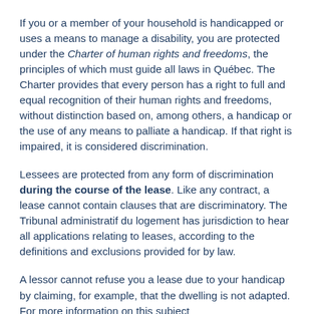If you or a member of your household is handicapped or uses a means to manage a disability, you are protected under the Charter of human rights and freedoms, the principles of which must guide all laws in Québec. The Charter provides that every person has a right to full and equal recognition of their human rights and freedoms, without distinction based on, among others, a handicap or the use of any means to palliate a handicap. If that right is impaired, it is considered discrimination.
Lessees are protected from any form of discrimination during the course of the lease. Like any contract, a lease cannot contain clauses that are discriminatory. The Tribunal administratif du logement has jurisdiction to hear all applications relating to leases, according to the definitions and exclusions provided for by law.
A lessor cannot refuse you a lease due to your handicap by claiming, for example, that the dwelling is not adapted. For more information on this subject...